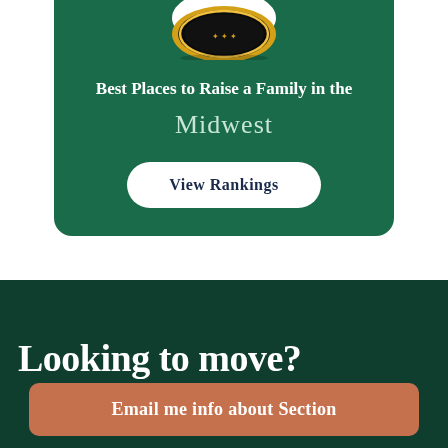[Figure (infographic): Green rounded card with a gold medal/badge at top, containing text 'Best Places to Raise a Family in the Midwest' and a 'View Rankings' button]
Best Places to Raise a Family in the Midwest
View Rankings
Looking to move?
Email me info about Section